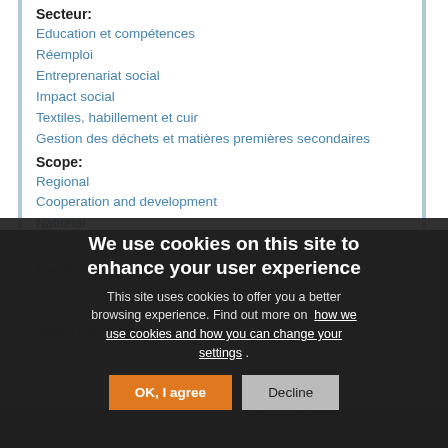Secteur:
Education et compétences
Réemploi
Entreprenariat social
Impact social
Textiles, habillement et cuir
Gestion des déchets et matières premières secondaires
Scope:
Regional
Cooperation and development
National
International
The Italian Carriera is an ethical fashion workshop founded in La... fabric b...
Believing... inclusion... of disadvantaged people... refugees and asylum seekers.
[Figure (screenshot): Cookie consent banner overlay with title 'We use cookies on this site to enhance your user experience', body text about cookies, link to cookie policy, and two buttons: 'OK, I agree' (orange) and 'Decline' (grey).]
MoiOS International Conference: States and Seekers in the...